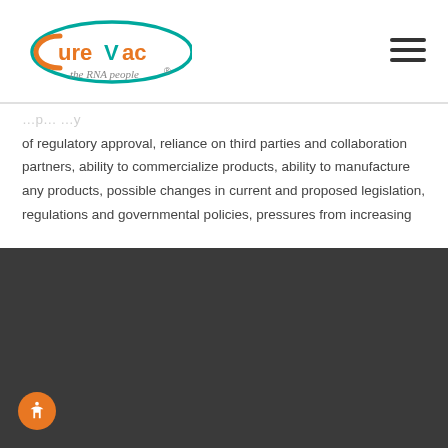[Figure (logo): CureVac logo with tagline 'the RNA people']
of regulatory approval, reliance on third parties and collaboration partners, ability to commercialize products, ability to manufacture any products, possible changes in current and proposed legislation, regulations and governmental policies, pressures from increasing
By clicking "Accept All Cookies", you agree to the storing of cookies on your device to enhance site navigation, analyze site usage, and assist in our marketing efforts.
Cookies Settings
Accept All Cookies